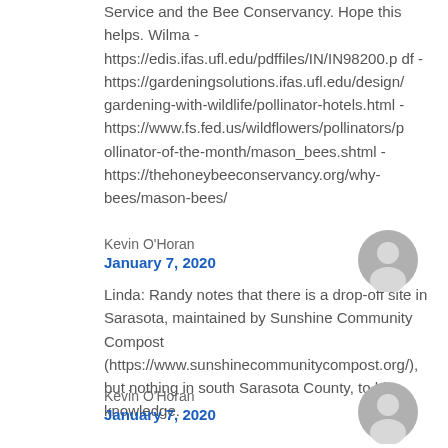Service and the Bee Conservancy. Hope this helps. Wilma - https://edis.ifas.ufl.edu/pdffiles/IN/IN98200.pdf - https://gardeningsolutions.ifas.ufl.edu/design/gardening-with-wildlife/pollinator-hotels.html - https://www.fs.fed.us/wildflowers/pollinators/pollinator-of-the-month/mason_bees.shtml - https://thehoneybeeconservancy.org/why-bees/mason-bees/
Kevin O'Horan
January 7, 2020
Linda: Randy notes that there is a drop-off site in Sarasota, maintained by Sunshine Community Compost (https://www.sunshinecommunitycompost.org/), but nothing in south Sarasota County, to his knowledge.
Kevin O'Horan
January 7, 2020